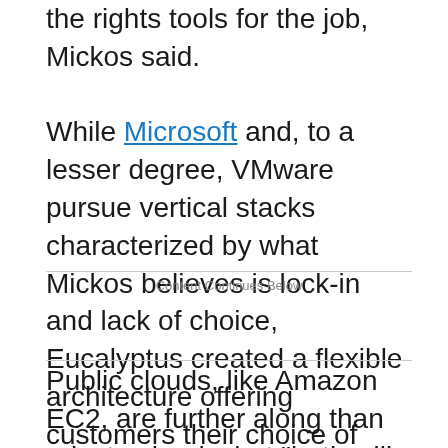the rights tools for the job, Mickos said. While Microsoft and, to a lesser degree, VMware pursue vertical stacks characterized by what Mickos believes is lock-in and lack of choice, Eucalyptus created a flexible architecture offering customers their choice of hypervisor and operating system. By adhering to the Amazon API, Eucalyptus lets customers move workloads between private and public clouds, Mickos said.
Content Continues Below
Public clouds, like Amazon EC2, are further along than private clouds, but "both will be massive businesses"